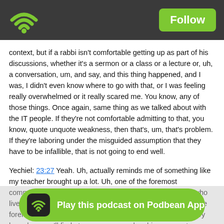[Figure (logo): Podbean app wifi/podcast icon on dark gray header bar with Follow button]
context, but if a rabbi isn't comfortable getting up as part of his discussions, whether it's a sermon or a class or a lecture or, uh, a conversation, um, and say, and this thing happened, and I was, I didn't even know where to go with that, or I was feeling really overwhelmed or it really scared me. You know, any of those things. Once again, same thing as we talked about with the IT people. If they're not comfortable admitting to that, you know, quote unquote weakness, then that's, um, that's problem. If they're laboring under the misguided assumption that they have to be infallible, that is not going to end well.
Yechiel: 23:27 Yeah. Uh, actually reminds me of something like my teacher brought up a lot. Uh, one of the foremost commentators on the Torah Rashi, Rabbi Shlomo Itzhaki, who lived around 900 years ago in France. And he, so he's like the foremost commentator on the Torah, every pretty much every homeless you'll find at any synagogue has his commentary there. And there's actually a pretty famous, uh, one of the verses, Rashi quotes some line from the verse and says, I don't know what this is teaching us. And my teacher said, you know, why did he bother saying that? If you don't know, just leave it out. I mean, you're not, why do you have to tell us? So how many did you say that, you know, it's true. There were probably many other places where Rashi didn't know any, h... st, at least once. So tha...
[Figure (infographic): Green pill-shaped banner at bottom: Play this podcast on Podbean App]